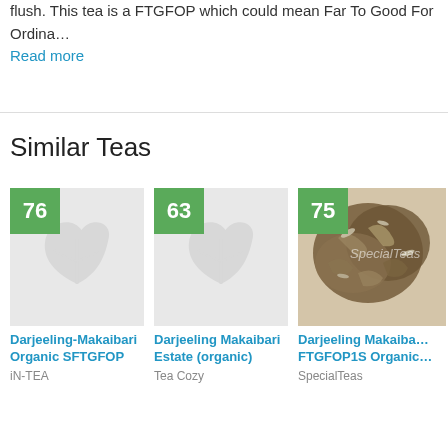flush. This tea is a FTGFOP which could mean Far To Good For Ordina…
Read more
Similar Teas
[Figure (photo): Tea card with score badge 76, placeholder leaf image for Darjeeling-Makaibari Organic SFTGFOP]
Darjeeling-Makaibari Organic SFTGFOP
iN-TEA
[Figure (photo): Tea card with score badge 63, placeholder leaf image for Darjeeling Makaibari Estate (organic)]
Darjeeling Makaibari Estate (organic)
Tea Cozy
[Figure (photo): Tea card with score badge 75, real photo of loose leaf tea for Darjeeling Makaibari FTGFOP1S Organic]
Darjeeling Makaibari FTGFOP1S Organic
SpecialTeas